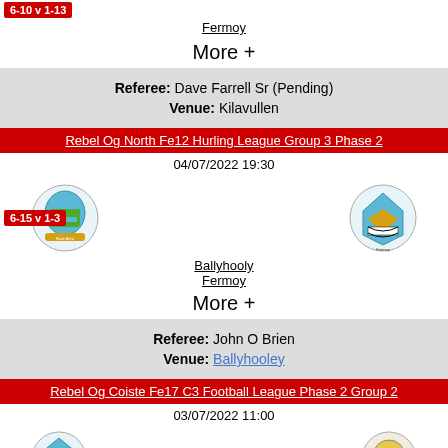6-10 v 1-13 (score badge, top)
Fermoy
More +
Referee: Dave Farrell Sr (Pending)
Venue: Kilavullen
Rebel Og North Fe12 Hurling League Group 3 Phase 2
04/07/2022 19:30
[Figure (logo): Ballyhooly club crest]
[Figure (logo): Fermoy club crest]
Ballyhooly
6-15 v 1-3 (score badge)
Fermoy
More +
Referee: John O Brien
Venue: Ballyhooley
Rebel Og Coiste Fe17 C3 Football League Phase 2 Group 2
03/07/2022 11:00
[Figure (logo): Fermoy club crest (bottom)]
[Figure (logo): CLG Athfhada club crest (bottom)]